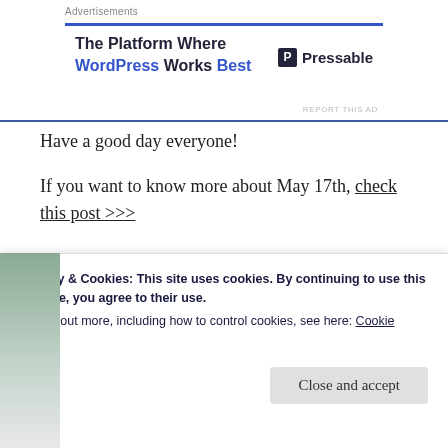Advertisements | The Platform Where WordPress Works Best — Pressable
Have a good day everyone!
If you want to know more about May 17th, check this post >>>
May 18, 2020   diary, Meanwhile in the North, Photography, Sør-Varanger   17, mai, kirkenes, may 17th, northern norway, norwegian society   Leave a comment
Privacy & Cookies: This site uses cookies. By continuing to use this website, you agree to their use.
To find out more, including how to control cookies, see here: Cookie Policy
Close and accept